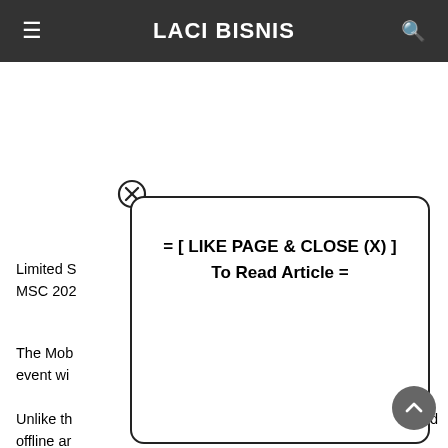LACI BISNIS
Limited S... watch MSC 202...
The Mob... event wi...
Unlike th... d offline ar... watch th...
[Figure (screenshot): Modal dialog box with close (X) button showing text: = [ LIKE PAGE & CLOSE (X) ] To Read Article =]
= [ LIKE PAGE & CLOSE (X) ] To Read Article =